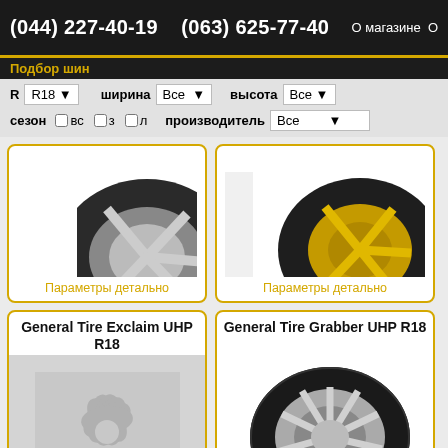(044) 227-40-19   (063) 625-77-40  О магазине  О
Подбор шин
R  R18  ширина  Все  высота  Все  сезон  вс  з  л  производитель  Все
[Figure (photo): Top-left: tire image cropped, wheel partially visible on gray/white background]
Параметры детально
[Figure (photo): Top-right: tire with gold/yellow rim on white background]
Параметры детально
General Tire Exclaim UHP R18
[Figure (photo): No photo placeholder with NBC peacock logo watermark in gray]
General Tire Grabber UHP R18
[Figure (photo): Tire with silver/chrome multi-spoke wheel on white background]